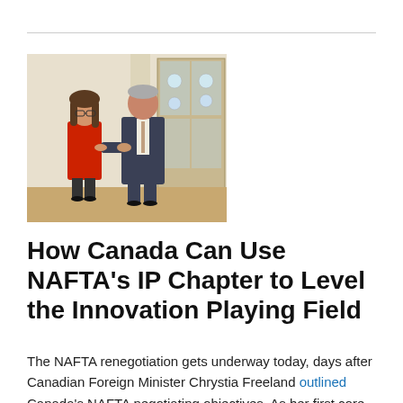[Figure (photo): Two people shaking hands indoors: a woman in a red dress and a tall man in a dark suit, in front of a wooden display cabinet with decorative plates.]
How Canada Can Use NAFTA’s IP Chapter to Level the Innovation Playing Field
The NAFTA renegotiation gets underway today, days after Canadian Foreign Minister Chrystia Freeland outlined Canada’s NAFTA negotiating objectives. As her first core